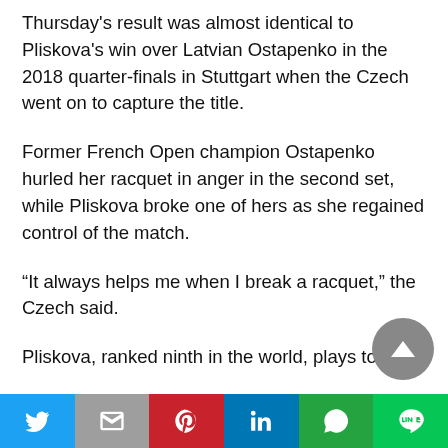Thursday's result was almost identical to Pliskova's win over Latvian Ostapenko in the 2018 quarter-finals in Stuttgart when the Czech went on to capture the title.
Former French Open champion Ostapenko hurled her racquet in anger in the second set, while Pliskova broke one of hers as she regained control of the match.
“It always helps me when I break a racquet,” the Czech said.
Pliskova, ranked ninth in the world, plays top